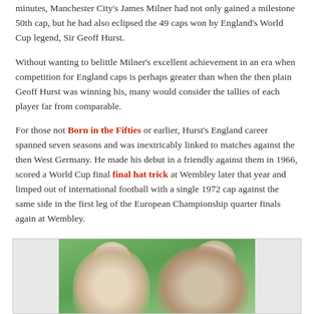minutes, Manchester City's James Milner had not only gained a milestone 50th cap, but he had also eclipsed the 49 caps won by England's World Cup legend, Sir Geoff Hurst.
Without wanting to belittle Milner's excellent achievement in an era when competition for England caps is perhaps greater than when the then plain Geoff Hurst was winning his, many would consider the tallies of each player far from comparable.
For those not Born in the Fifties or earlier, Hurst's England career spanned seven seasons and was inextricably linked to matches against the then West Germany. He made his debut in a friendly against them in 1966, scored a World Cup final hat trick at Wembley later that year and limped out of international football with a single 1972 cap against the same side in the first leg of the European Championship quarter finals again at Wembley.
[Figure (photo): Photograph of two people on a green football pitch background, partially visible at the bottom of the page]